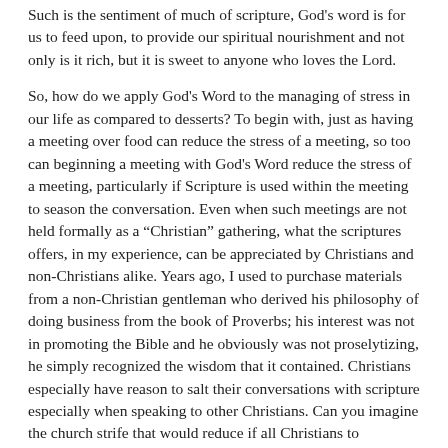Such is the sentiment of much of scripture, God's word is for us to feed upon, to provide our spiritual nourishment and not only is it rich, but it is sweet to anyone who loves the Lord.
So, how do we apply God's Word to the managing of stress in our life as compared to desserts? To begin with, just as having a meeting over food can reduce the stress of a meeting, so too can beginning a meeting with God's Word reduce the stress of a meeting, particularly if Scripture is used within the meeting to season the conversation. Even when such meetings are not held formally as a "Christian" gathering, what the scriptures offers, in my experience, can be appreciated by Christians and non-Christians alike. Years ago, I used to purchase materials from a non-Christian gentleman who derived his philosophy of doing business from the book of Proverbs; his interest was not in promoting the Bible and he obviously was not proselytizing, he simply recognized the wisdom that it contained. Christians especially have reason to salt their conversations with scripture especially when speaking to other Christians. Can you imagine the church strife that would reduce if all Christians to intentionally seek scriptural support for all they would say or do? It seems that many if not most Christians have fallen for the lie that we must emulate what the world does them, and the word of God is never brought to bear on matters of church life or business.
The second, and most critical element for Christians to grasp is this idea...